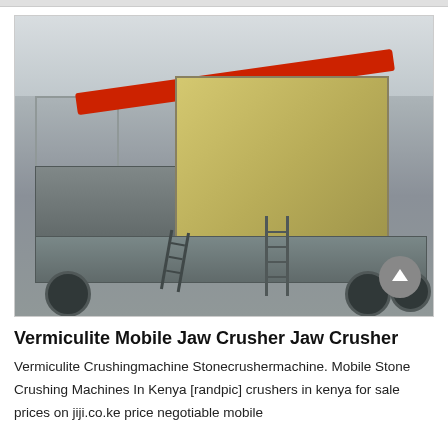[Figure (photo): A large mobile jaw crusher machine mounted on a trailer/flatbed inside an industrial warehouse. The machine has a tan/yellow crusher body, grey steel frame platform, red overhead crane beam visible in background, and metal access ladders. The warehouse has a steel roof structure.]
Vermiculite Mobile Jaw Crusher Jaw Crusher
Vermiculite Crushingmachine Stonecrushermachine. Mobile Stone Crushing Machines In Kenya [randpic] crushers in kenya for sale prices on jiji.co.ke price negotiable mobile